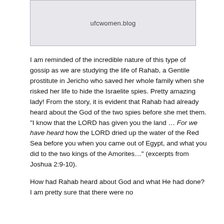[Figure (other): Header image placeholder with URL 'ufcwomen.blog' on a light gray background with border]
I am reminded of the incredible nature of this type of gossip as we are studying the life of Rahab, a Gentile prostitute in Jericho who saved her whole family when she risked her life to hide the Israelite spies. Pretty amazing lady! From the story, it is evident that Rahab had already heard about the God of the two spies before she met them. “I know that the LORD has given you the land … For we have heard how the LORD dried up the water of the Red Sea before you when you came out of Egypt, and what you did to the two kings of the Amorites…” (excerpts from Joshua 2:9-10).
How had Rahab heard about God and what He had done? I am pretty sure that there were no